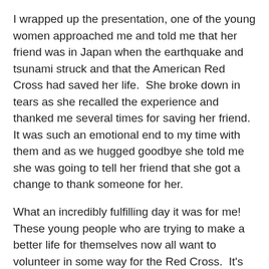I wrapped up the presentation, one of the young women approached me and told me that her friend was in Japan when the earthquake and tsunami struck and that the American Red Cross had saved her life.  She broke down in tears as she recalled the experience and thanked me several times for saving her friend.  It was such an emotional end to my time with them and as we hugged goodbye she told me she was going to tell her friend that she got a change to thank someone for her.
What an incredibly fulfilling day it was for me!  These young people who are trying to make a better life for themselves now all want to volunteer in some way for the Red Cross.  It's my hope that they one day do show up at one of our offices and learn how to become a volunteer.
Would you like to volunteer with us?  Go to